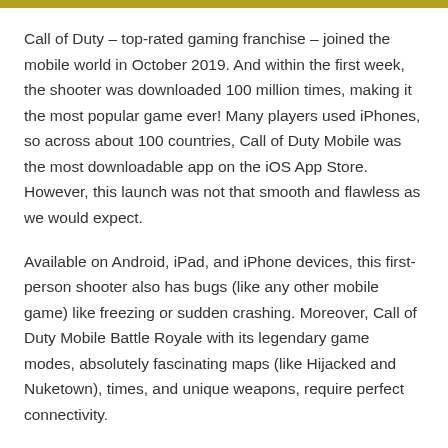Call of Duty – top-rated gaming franchise – joined the mobile world in October 2019. And within the first week, the shooter was downloaded 100 million times, making it the most popular game ever! Many players used iPhones, so across about 100 countries, Call of Duty Mobile was the most downloadable app on the iOS App Store. However, this launch was not that smooth and flawless as we would expect.
Available on Android, iPad, and iPhone devices, this first-person shooter also has bugs (like any other mobile game) like freezing or sudden crashing. Moreover, Call of Duty Mobile Battle Royale with its legendary game modes, absolutely fascinating maps (like Hijacked and Nuketown), times, and unique weapons, require perfect connectivity.